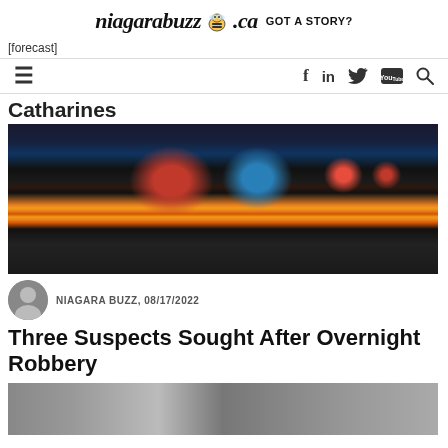niagarabuzz.ca GOT A STORY?
[forecast]
[Figure (other): Navigation bar with hamburger menu icon and social media icons: f (Facebook), in (LinkedIn), bird (Twitter), YouTube, search]
Catharines
[Figure (photo): Close-up photo of police car light bar with red and blue emergency lights and amber/orange warning lights]
NIAGARA BUZZ, 08/17/2022
Three Suspects Sought After Overnight Robbery
[Figure (photo): Partial photo at bottom of page, appears to show police-related scene]